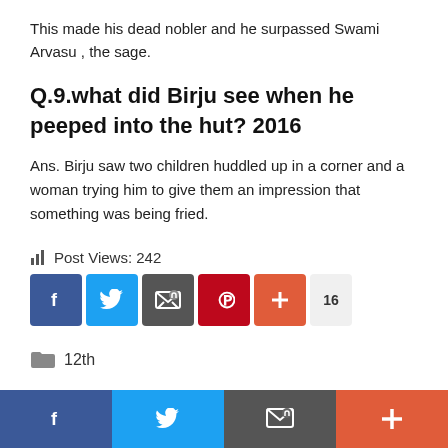This made his dead nobler and he surpassed Swami Arvasu , the sage.
Q.9.what did Birju see when he peeped into the hut? 2016
Ans. Birju saw two children huddled up in a corner and a woman trying him to give them an impression that something was being fried.
Post Views: 242
[Figure (infographic): Social share buttons: Facebook (blue), Twitter (light blue), Email (dark gray), Pinterest (red), Plus (orange-red), count badge showing 16]
12th
[Figure (infographic): Bottom mobile share bar with Facebook, Twitter, Email, and Plus buttons]